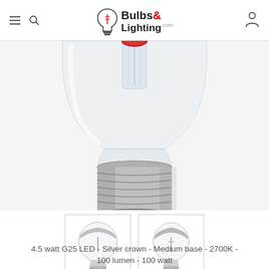Bulbs & Lighting .com
[Figure (photo): Close-up of a G25 LED silver crown bulb with clear glass globe and medium E26 screw base, filament visible inside, viewed from below]
[Figure (photo): Thumbnail: G25 LED silver crown bulb full view]
[Figure (photo): Thumbnail: G25 LED silver crown bulb alternate view]
4.5 watt G25 LED - Silver crown - Medium base - 2700K - 100 lumen - 100 watt